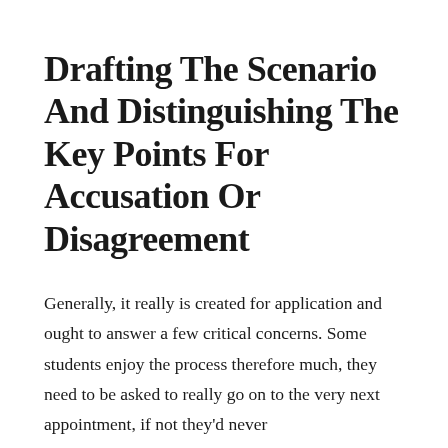Drafting The Scenario And Distinguishing The Key Points For Accusation Or Disagreement
Generally, it really is created for application and ought to answer a few critical concerns. Some students enjoy the process therefore much, they need to be asked to really go on to the very next appointment, if not they'd never